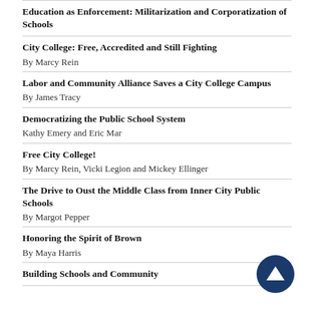Education as Enforcement: Militarization and Corporatization of Schools
City College: Free, Accredited and Still Fighting
By Marcy Rein
Labor and Community Alliance Saves a City College Campus
By James Tracy
Democratizing the Public School System
Kathy Emery and Eric Mar
Free City College!
By Marcy Rein, Vicki Legion and Mickey Ellinger
The Drive to Oust the Middle Class from Inner City Public Schools
By Margot Pepper
Honoring the Spirit of Brown
By Maya Harris
Building Schools and Community